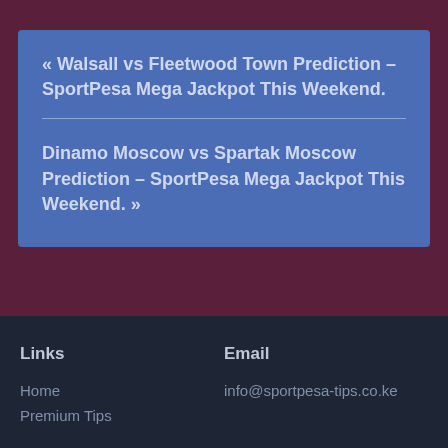« Walsall vs Fleetwood Town Prediction – SportPesa Mega Jackpot This Weekend.
Dinamo Moscow vs Spartak Moscow Prediction – SportPesa Mega Jackpot This Weekend. »
Links
Email
Home
Premium Tips
info@sportpesa-tips.co.ke